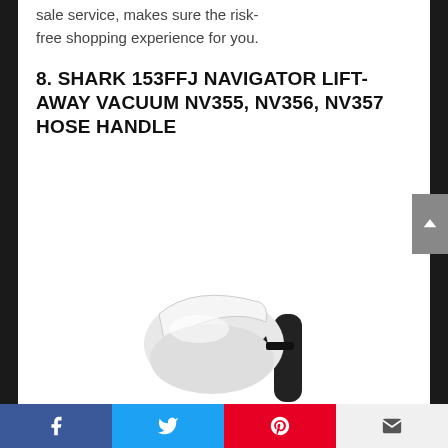sale service, makes sure the risk-free shopping experience for you.
8. SHARK 153FFJ NAVIGATOR LIFT-AWAY VACUUM NV355, NV356, NV357 HOSE HANDLE
[Figure (photo): White Shark vacuum hose handle accessory, black accents, partial view from below]
Social share bar with Facebook, Twitter, Pinterest, Email buttons